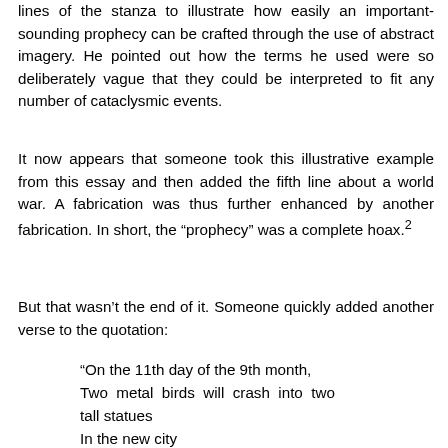lines of the stanza to illustrate how easily an important-sounding prophecy can be crafted through the use of abstract imagery. He pointed out how the terms he used were so deliberately vague that they could be interpreted to fit any number of cataclysmic events.
It now appears that someone took this illustrative example from this essay and then added the fifth line about a world war. A fabrication was thus further enhanced by another fabrication. In short, the “prophecy” was a complete hoax.²
But that wasn’t the end of it. Someone quickly added another verse to the quotation:
“On the 11th day of the 9th month,
Two metal birds will crash into two tall statues
In the new city